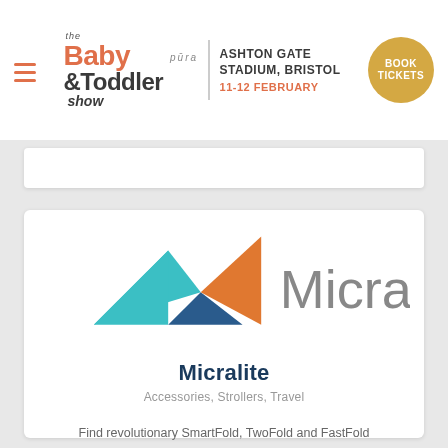the Baby & Toddler show pura | ASHTON GATE STADIUM, BRISTOL 11-12 FEBRUARY | BOOK TICKETS
[Figure (logo): Micralite logo with geometric mountain shapes in teal, dark blue, and orange, followed by the word Micralite in grey]
Micralite
Accessories, Strollers, Travel
Find revolutionary SmartFold, TwoFold and FastFold